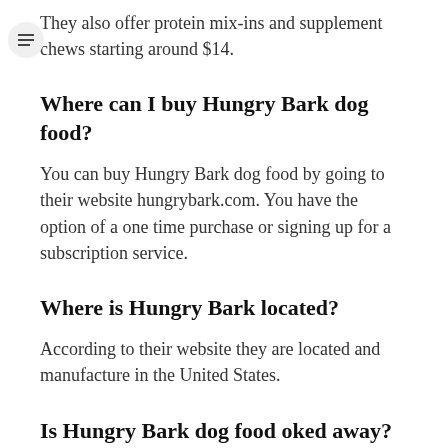They also offer protein mix-ins and supplement chews starting around $14.
Where can I buy Hungry Bark dog food?
You can buy Hungry Bark dog food by going to their website hungrybark.com. You have the option of a one time purchase or signing up for a subscription service.
Where is Hungry Bark located?
According to their website they are located and manufacture in the United States.
Is Hungry Bark dog food oked away?